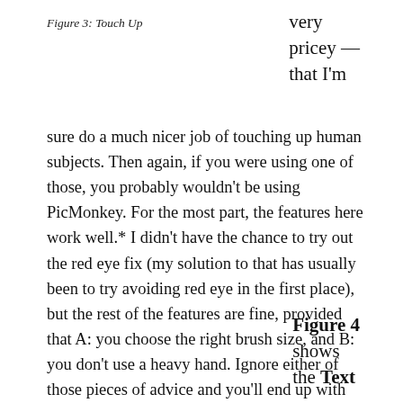Figure 3: Touch Up
very pricey — that I'm sure do a much nicer job of touching up human subjects. Then again, if you were using one of those, you probably wouldn't be using PicMonkey. For the most part, the features here work well.* I didn't have the chance to try out the red eye fix (my solution to that has usually been to try avoiding red eye in the first place), but the rest of the features are fine, provided that A: you choose the right brush size, and B: you don't use a heavy hand. Ignore either of those pieces of advice and you'll end up with photos that look touched up, and rather inexpertly at that.
Figure 4 shows the Text